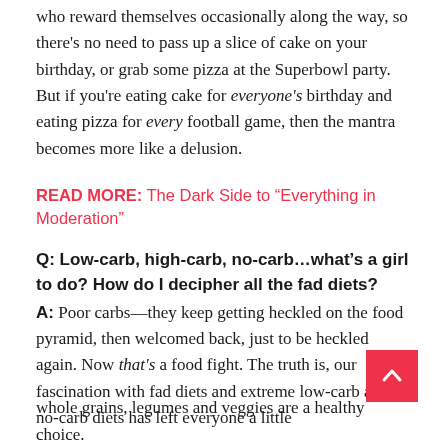who reward themselves occasionally along the way, so there's no need to pass up a slice of cake on your birthday, or grab some pizza at the Superbowl party. But if you're eating cake for everyone's birthday and eating pizza for every football game, then the mantra becomes more like a delusion.
READ MORE: The Dark Side to “Everything in Moderation”
Q: Low-carb, high-carb, no-carb…what’s a girl to do? How do I decipher all the fad diets?
A: Poor carbs—they keep getting heckled on the food pyramid, then welcomed back, just to be heckled again. Now that’s a food fight. The truth is, our fascination with fad diets and extreme low-carb and no-carb diets has left everyone a little
whole grains, legumes and veggies are a healthy choice.